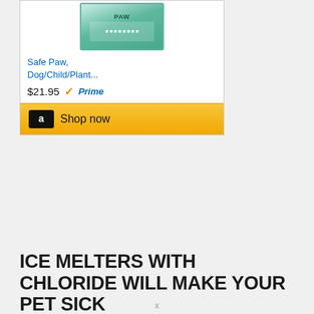[Figure (screenshot): Amazon product card showing 'Safe Paw, Dog/Child/Plant...' priced at $21.95 with Prime badge and a 'Shop now' button with Amazon logo]
ICE MELTERS WITH CHLORIDE WILL MAKE YOUR PET SICK
Most ice melters and concrete deicers contain sodium chloride, potassium chloride or magnesium chloride in some sort of combination. Some health issues for pets